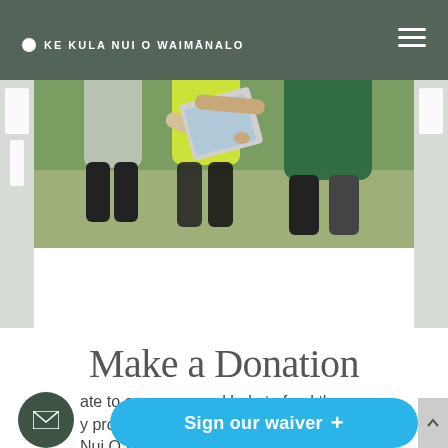KE KULA NUI O WAIMĀNALO
[Figure (photo): Children looking at a tablet device outdoors on a grass field. One child in a green shirt, one in a yellow/lime shirt, and one in a gray shirt are gathered together looking at a tablet.]
Make a Donation
ate to our cause and help to fund the y programs we off... Nui O Waimanalo. Us...
Sign our waiver +